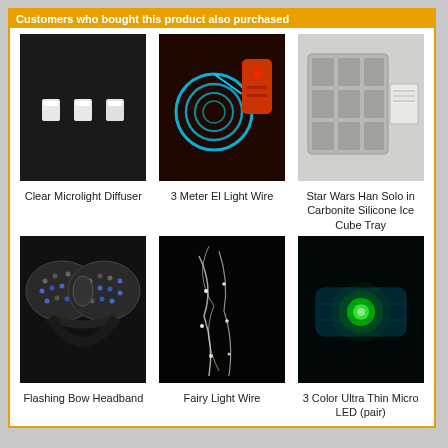Customers who bought this product also purchased
[Figure (photo): Clear Microlight Diffuser - three small white LED diffuser pieces on dark background]
Clear Microlight Diffuser
[Figure (photo): 3 Meter El Light Wire - glowing blue coiled wire with orange remote control on dark background]
3 Meter El Light Wire
[Figure (photo): Star Wars Han Solo in Carbonite Silicone Ice Cube Tray - grey plastic tray product]
Star Wars Han Solo in Carbonite Silicone Ice Cube Tray
[Figure (photo): Flashing Bow Headband - sequined bow headband with blue LED lights on dark background]
Flashing Bow Headband
[Figure (photo): Fairy Light Wire - thin white glowing wire strands on dark background]
Fairy Light Wire
[Figure (photo): 3 Color Ultra Thin Micro LED (pair) - glowing green LED in translucent casing on dark background]
3 Color Ultra Thin Micro LED (pair)